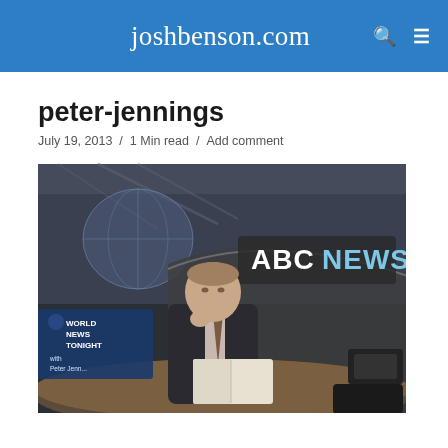joshbenson.com
peter-jennings
July 19, 2013 / 1 Min read / Add comment
[Figure (photo): Peter Jennings seated at the ABC News anchor desk with 'ABC NEWS' signage and 'World News Tonight with Peter Jennings' graphic visible in background]